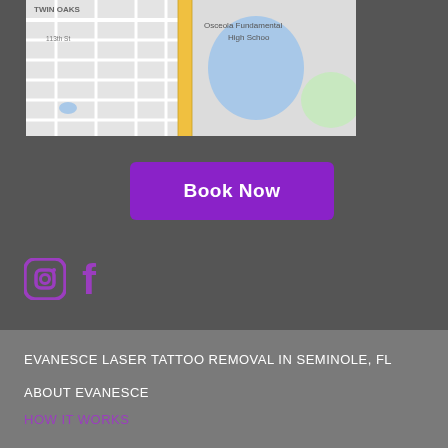[Figure (map): Google Maps snippet showing Twin Oaks neighborhood, 113th St, Osceola Fundamental High School, water body, and green area in Seminole, FL area]
Book Now
[Figure (other): Instagram and Facebook social media icons in purple]
EVANESCE LASER TATTOO REMOVAL IN SEMINOLE, FL
ABOUT EVANESCE
HOW IT WORKS